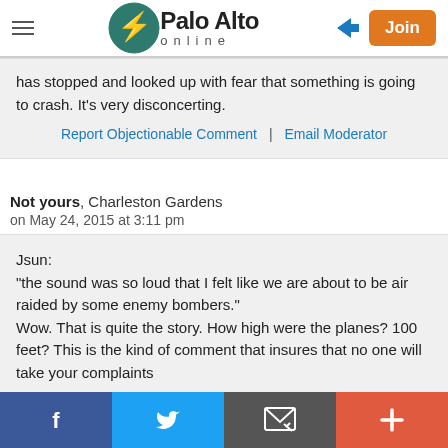Palo Alto online
has stopped and looked up with fear that something is going to crash. It's very disconcerting.
Report Objectionable Comment | Email Moderator
Not yours, Charleston Gardens
on May 24, 2015 at 3:11 pm
Jsun:
"the sound was so loud that I felt like we are about to be air raided by some enemy bombers."
Wow. That is quite the story. How high were the planes? 100 feet? This is the kind of comment that insures that no one will take your complaints
f | Twitter | Email | +